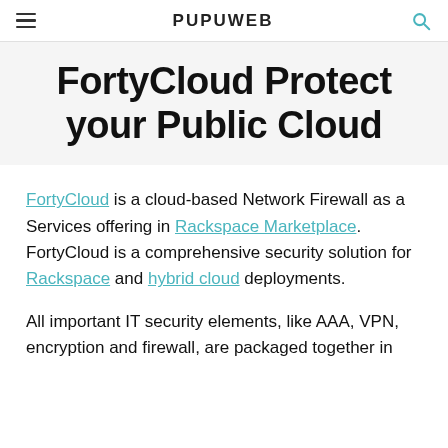PUPUWEB
FortyCloud Protect your Public Cloud
FortyCloud is a cloud-based Network Firewall as a Services offering in Rackspace Marketplace. FortyCloud is a comprehensive security solution for Rackspace and hybrid cloud deployments.
All important IT security elements, like AAA, VPN, encryption and firewall, are packaged together in